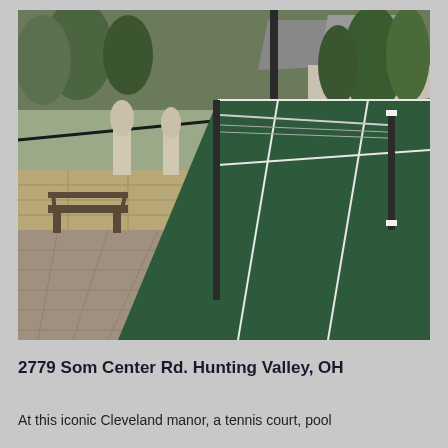[Figure (photo): Outdoor tennis court with dark green surface and white net posts. To the left is a stone patio area with benches, large stone wall boundary, white garden statues on pedestals, and evergreen trees. In the background is a house with a gray shingled roof.]
2779 Som Center Rd. Hunting Valley, OH
At this iconic Cleveland manor, a tennis court, pool